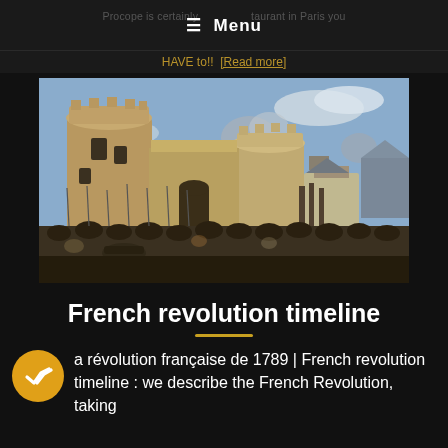☰ Menu
HAVE to! [Read more]
[Figure (illustration): Painting of the storming of the Bastille fortress in Paris, with crowds of people and soldiers carrying weapons in front of the medieval stone towers]
French revolution timeline
a révolution française de 1789 | French revolution timeline : we describe the French Revolution, taking